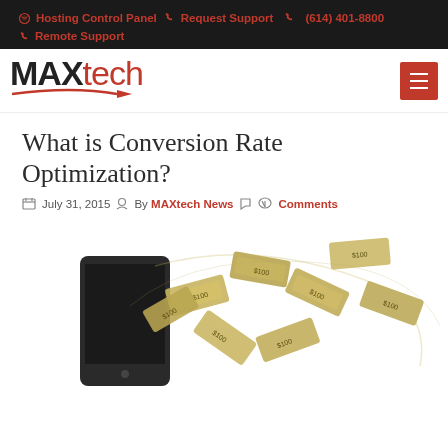Hosting Control Panel  Request Support  (614) 401-8800  Remote Support
[Figure (logo): MAXtech logo with red arrow and hamburger menu button]
What is Conversion Rate Optimization?
July 31, 2015  By MAXtech News  Comments
[Figure (photo): A smartphone with US dollar bills flying out of the screen]